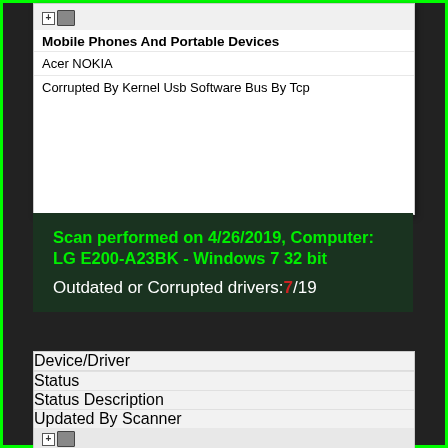Mobile Phones And Portable Devices
Acer NOKIA
Corrupted By Kernel Usb Software Bus By Tcp
Scan performed on 4/26/2019, Computer: LG E200-A23BK - Windows 7 32 bit
Outdated or Corrupted drivers:7/19
| Device/Driver | Status | Status Description | Updated By Scanner |
| --- | --- | --- | --- |
Motherboards
Microsoft Intel 82371AB/EB PCI to ISA bridge (ISA mode)
Corrupted By Kernel Usb Software Bus By Tcp